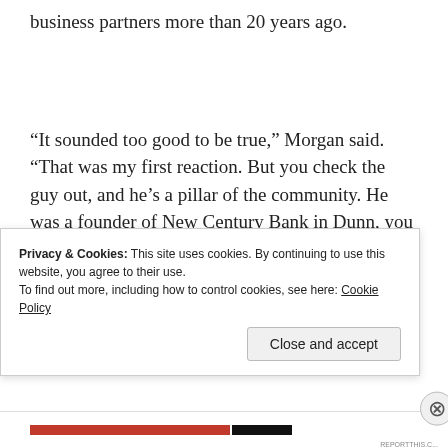business partners more than 20 years ago.
“It sounded too good to be true,” Morgan said. “That was my first reaction. But you check the guy out, and he’s a pillar of the community. He was a founder of New Century Bank in Dunn, you know? He was just what you would think a real pillar of the community is. I was hoodwinked.”
Privacy & Cookies: This site uses cookies. By continuing to use this website, you agree to their use.
To find out more, including how to control cookies, see here: Cookie Policy
Close and accept